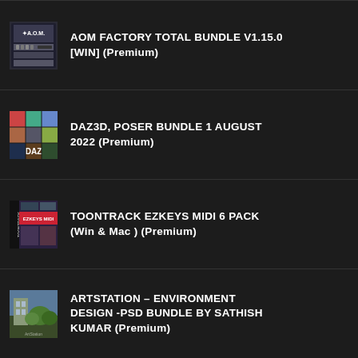AOM Factory Total Bundle v1.15.0 [WiN] (Premium)
DAZ3D, POSER BUNDLE 1 AUGUST 2022 (Premium)
TOONTRACK EZKEYS MIDI 6 PACK (Win & Mac ) (Premium)
ARTSTATION – ENVIRONMENT DESIGN -PSD BUNDLE BY SATHISH KUMAR (Premium)